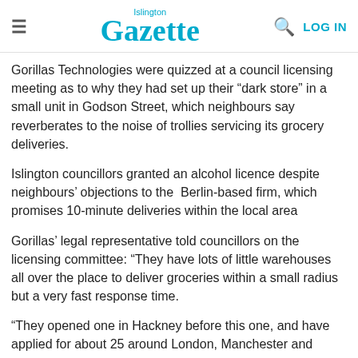Islington Gazette
Gorillas Technologies were quizzed at a council licensing meeting as to why they had set up their “dark store” in a small unit in Godson Street, which neighbours say reverberates to the noise of trollies servicing its grocery deliveries.
Islington councillors granted an alcohol licence despite neighbours' objections to the Berlin-based firm, which promises 10-minute deliveries within the local area
Gorillas’ legal representative told councillors on the licensing committee: “They have lots of little warehouses all over the place to deliver groceries within a small radius but a very fast response time.
“They opened one in Hackney before this one, and have applied for about 25 around London, Manchester and